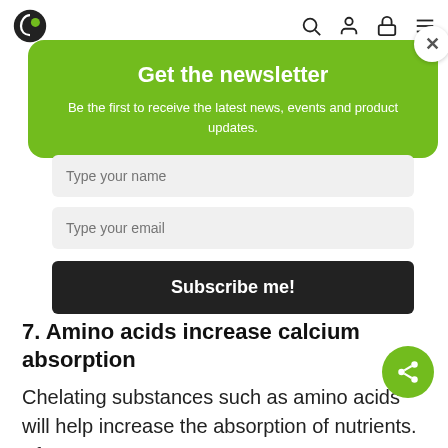Get the newsletter
Be the first to receive the latest news, events and product updates.
Type your name
Type your email
Subscribe me!
7. Amino acids increase calcium absorption
Chelating substances such as amino acids will help increase the absorption of nutrients. After